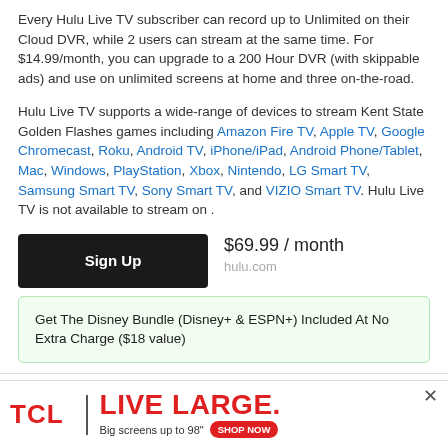Every Hulu Live TV subscriber can record up to Unlimited on their Cloud DVR, while 2 users can stream at the same time. For $14.99/month, you can upgrade to a 200 Hour DVR (with skippable ads) and use on unlimited screens at home and three on-the-road.
Hulu Live TV supports a wide-range of devices to stream Kent State Golden Flashes games including Amazon Fire TV, Apple TV, Google Chromecast, Roku, Android TV, iPhone/iPad, Android Phone/Tablet, Mac, Windows, PlayStation, Xbox, Nintendo, LG Smart TV, Samsung Smart TV, Sony Smart TV, and VIZIO Smart TV. Hulu Live TV is not available to stream on .
$69.99 / month
hulu.com
Get The Disney Bundle (Disney+ & ESPN+) Included At No Extra Charge ($18 value)
[Figure (infographic): TCL advertisement banner: TCL logo in red, vertical divider, LIVE LARGE. text in red large font, subtext 'Big screens up to 98"' with a red SHOP NOW button, and an X close button.]